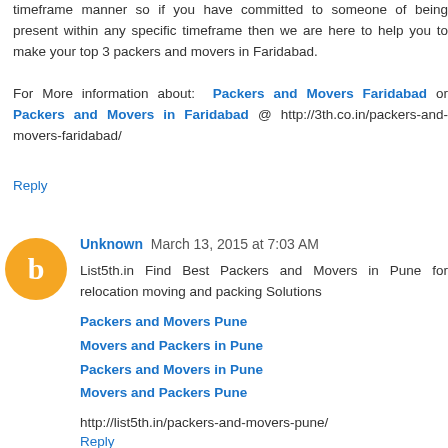timeframe manner so if you have committed to someone of being present within any specific timeframe then we are here to help you to make your top 3 packers and movers in Faridabad.
For More information about: Packers and Movers Faridabad or Packers and Movers in Faridabad @ http://3th.co.in/packers-and-movers-faridabad/
Reply
Unknown March 13, 2015 at 7:03 AM
List5th.in Find Best Packers and Movers in Pune for relocation moving and packing Solutions
Packers and Movers Pune
Movers and Packers in Pune
Packers and Movers in Pune
Movers and Packers Pune
http://list5th.in/packers-and-movers-pune/
Reply